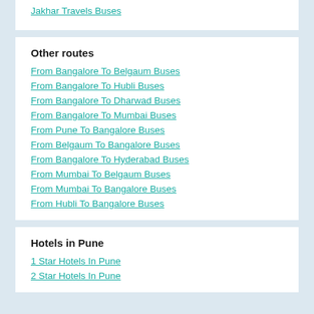Jakhar Travels Buses
Other routes
From Bangalore To Belgaum Buses
From Bangalore To Hubli Buses
From Bangalore To Dharwad Buses
From Bangalore To Mumbai Buses
From Pune To Bangalore Buses
From Belgaum To Bangalore Buses
From Bangalore To Hyderabad Buses
From Mumbai To Belgaum Buses
From Mumbai To Bangalore Buses
From Hubli To Bangalore Buses
Hotels in Pune
1 Star Hotels In Pune
2 Star Hotels In Pune